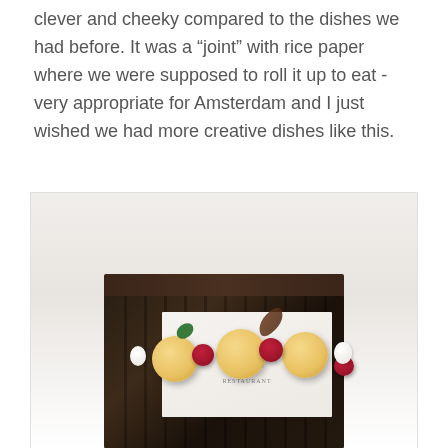clever and cheeky compared to the dishes we had before. It was a “joint” with rice paper where we were supposed to roll it up to eat - very appropriate for Amsterdam and I just wished we had more creative dishes like this.
[Figure (photo): A dark wooden rectangular box containing a dessert dish with melon balls, dark cherries/berries, white cream dollops, herb garnish and a decorative element, with a Ciel Bleu restaurant menu card propped inside the box.]